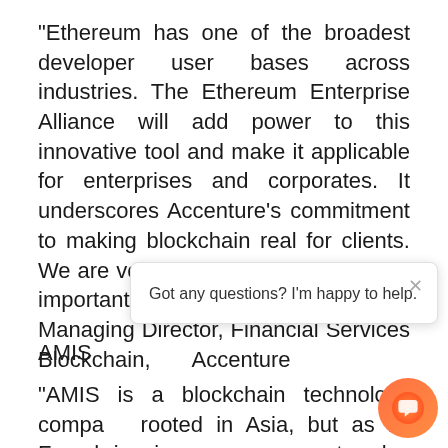“Ethereum has one of the broadest developer user bases across industries. The Ethereum Enterprise Alliance will add power to this innovative tool and make it applicable for enterprises and corporates. It underscores Accenture’s commitment to making blockchain real for clients. We are very pleased to be part of this important initiative.”–David Treat, Managing Director, Financial Services Blockchain, Accenture
AMIS
“AMIS is a blockchain technology company rooted in Asia, but as its French-inspired name suggests, also connected to the
[Figure (screenshot): Chat popup overlay with close button (x) and text 'Got any questions? I'm happy to help.' and an orange chat bubble icon in bottom right corner]